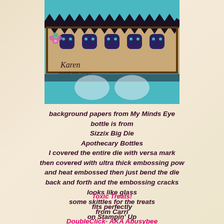[Figure (photo): Photo of a decorative craft project featuring a border/bracelet with skull and houndstooth pattern, dark zigzag border, and small flower decoration, with handwritten signature 'Karen']
background papers from My Minds Eye
bottle is from
Sizzix Big Die
Apothecary Bottles
I covered the entire die with versa mark
then covered with ultra thick embossing pow
and heat embossed then just bend the die
back and forth and the embossing cracks
looks like glass
some skittles for the treats
from Carri
DoubleClick- AKA Abusybee
and skeleton border die is from
CC Designs
Toxic Treats!
fits perfectly
on Stampin' Up